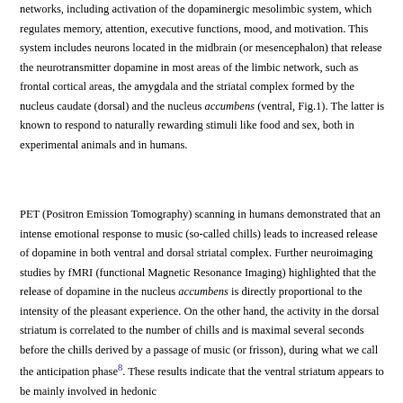networks, including activation of the dopaminergic mesolimbic system, which regulates memory, attention, executive functions, mood, and motivation. This system includes neurons located in the midbrain (or mesencephalon) that release the neurotransmitter dopamine in most areas of the limbic network, such as frontal cortical areas, the amygdala and the striatal complex formed by the nucleus caudate (dorsal) and the nucleus accumbens (ventral, Fig.1). The latter is known to respond to naturally rewarding stimuli like food and sex, both in experimental animals and in humans.
PET (Positron Emission Tomography) scanning in humans demonstrated that an intense emotional response to music (so-called chills) leads to increased release of dopamine in both ventral and dorsal striatal complex. Further neuroimaging studies by fMRI (functional Magnetic Resonance Imaging) highlighted that the release of dopamine in the nucleus accumbens is directly proportional to the intensity of the pleasant experience. On the other hand, the activity in the dorsal striatum is correlated to the number of chills and is maximal several seconds before the chills derived by a passage of music (or frisson), during what we call the anticipation phase8. These results indicate that the ventral striatum appears to be mainly involved in hedonic